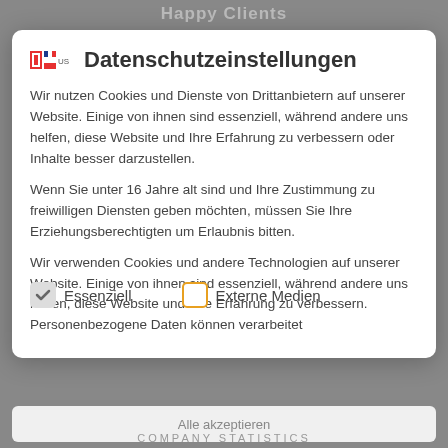Happy Clients
Datenschutzeinstellungen
Wir nutzen Cookies und Dienste von Drittanbietern auf unserer Website. Einige von ihnen sind essenziell, während andere uns helfen, diese Website und Ihre Erfahrung zu verbessern oder Inhalte besser darzustellen.
Wenn Sie unter 16 Jahre alt sind und Ihre Zustimmung zu freiwilligen Diensten geben möchten, müssen Sie Ihre Erziehungsberechtigten um Erlaubnis bitten.
Wir verwenden Cookies und andere Technologien auf unserer Website. Einige von ihnen sind essenziell, während andere uns helfen, diese Website und Ihre Erfahrung zu verbessern. Personenbezogene Daten können verarbeitet
Essenziell
Externe Medien
Alle akzeptieren
COMPANY STATISTICS